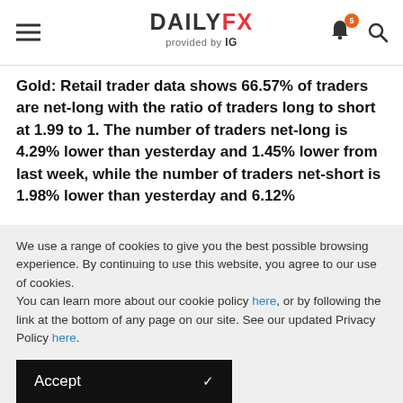DAILYFX provided by IG
Gold: Retail trader data shows 66.57% of traders are net-long with the ratio of traders long to short at 1.99 to 1. The number of traders net-long is 4.29% lower than yesterday and 1.45% lower from last week, while the number of traders net-short is 1.98% lower than yesterday and 6.12%
We use a range of cookies to give you the best possible browsing experience. By continuing to use this website, you agree to our use of cookies.
You can learn more about our cookie policy here, or by following the link at the bottom of any page on our site. See our updated Privacy Policy here.
Accept